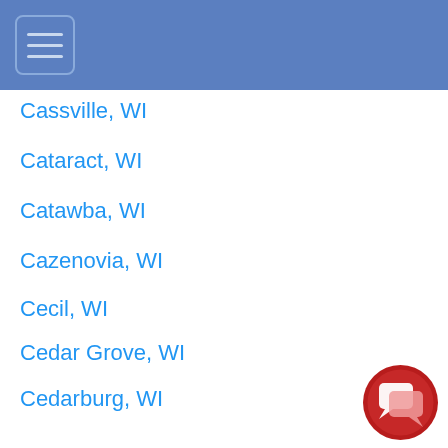Cassville, WI
Cataract, WI
Catawba, WI
Cazenovia, WI
Cecil, WI
Cedar Grove, WI
Cedarburg, WI
Centuria, WI
Chaseburg, WI
[Figure (illustration): Red circular chat/messenger button icon with speech bubble]